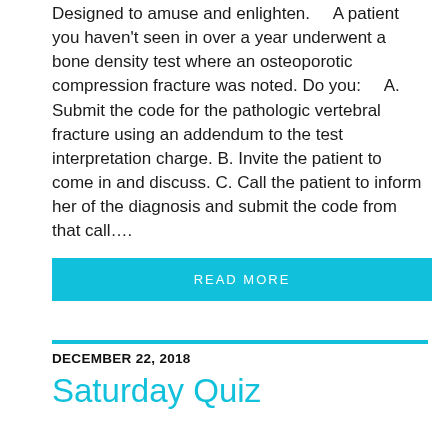Designed to amuse and enlighten.    A patient you haven't seen in over a year underwent a bone density test where an osteoporotic compression fracture was noted. Do you:    A. Submit the code for the pathologic vertebral fracture using an addendum to the test interpretation charge. B. Invite the patient to come in and discuss. C. Call the patient to inform her of the diagnosis and submit the code from that call….
READ MORE
December 22, 2018
Saturday Quiz